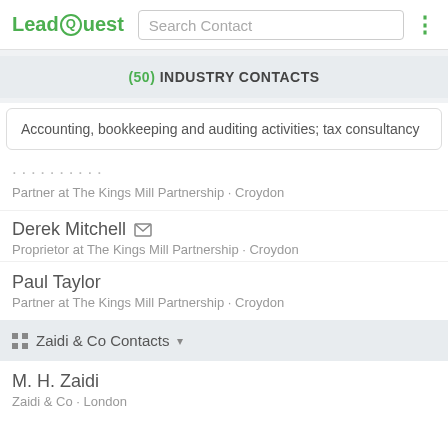LeadQuest | Search Contact
(50) INDUSTRY CONTACTS
Accounting, bookkeeping and auditing activities; tax consultancy
Partner at The Kings Mill Partnership · Croydon
Derek Mitchell
Proprietor at The Kings Mill Partnership · Croydon
Paul Taylor
Partner at The Kings Mill Partnership · Croydon
Zaidi & Co Contacts
M. H. Zaidi
Zaidi & Co · London